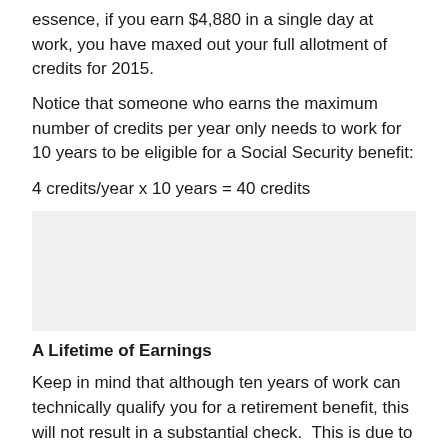essence, if you earn $4,880 in a single day at work, you have maxed out your full allotment of credits for 2015.
Notice that someone who earns the maximum number of credits per year only needs to work for 10 years to be eligible for a Social Security benefit:
[Figure (other): Gray placeholder box]
A Lifetime of Earnings
Keep in mind that although ten years of work can technically qualify you for a retirement benefit, this will not result in a substantial check.  This is due to the fact that Social Security looks at your 35 highest years of inflation-